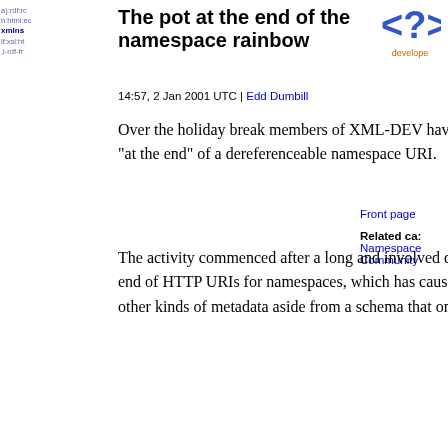[Figure (logo): XML developer works logo with <? > symbol in blue/orange]
The pot at the end of the namespace rainbow
14:57, 2 Jan 2001 UTC | Edd Dumbill
Front page
Related ca: Namespace Community
Over the holiday break members of XML-DEV have decided to put a constructive end to the controversy over what should be "at the end" of a dereferenceable namespace URI.
The activity commenced after a long and involved discussion centering around the practice of placing XML Schemas at the end of HTTP URIs for namespaces, which has caused much disquiet in the XML community, not least because there are many other kinds of metadata aside from a schema that one might wish to provide.
Acknowledging the desire that most people want a namespace URI to point to something, Tim Bray suggested that XML developers could create an XML application to describe namespace-related resources.
I think that if you got a group of qualified people, mostly computer